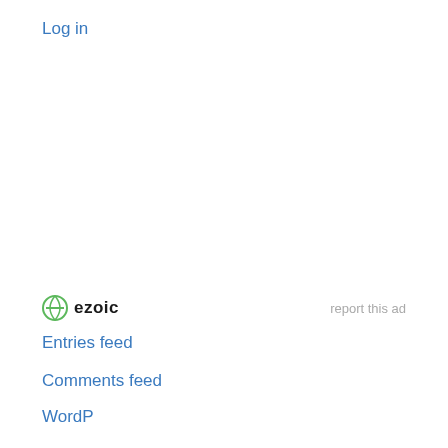Log in
[Figure (logo): Ezoic logo with circular badge icon and 'ezoic' wordmark in bold dark text]
report this ad
Entries feed
Comments feed
WordP...